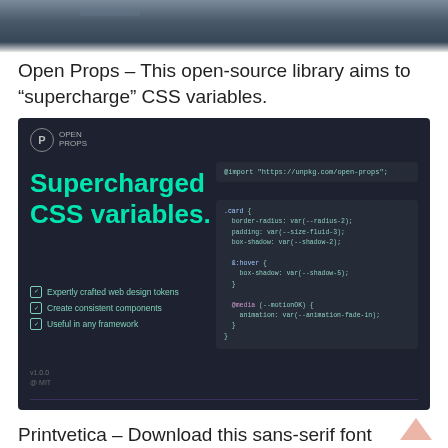[Figure (screenshot): Top portion of an aerial/ocean photograph cropped at the top of the page]
Open Props – This open-source library aims to "supercharge" CSS variables.
[Figure (screenshot): Open Props website screenshot on dark background showing 'Supercharged CSS variables.' heading in teal/green, checklist items, and CSS code panels on the right side.]
Printvetica – Download this sans-serif font with rough edges – perfect for a vintage look.